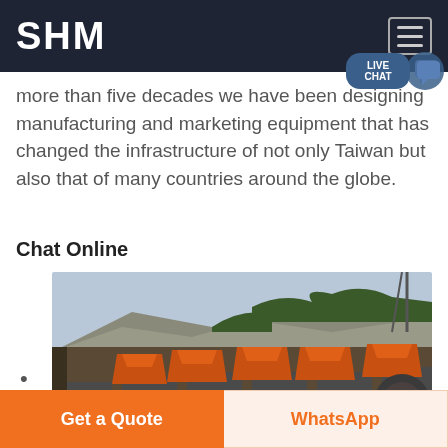SHM
more than five decades we have been designing manufacturing and marketing equipment that has changed the infrastructure of not only Taiwan but also that of many countries around the globe.
Chat Online
[Figure (photo): Industrial quarry site showing multiple large orange and black processing/screening machines arranged in a row, with a rocky cliff face and trees visible in the background.]
Get a Quote
WhatsApp